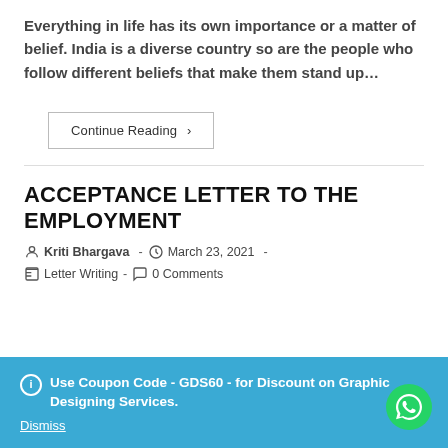Everything in life has its own importance or a matter of belief. India is a diverse country so are the people who follow different beliefs that make them stand up…
Continue Reading ›
ACCEPTANCE LETTER TO THE EMPLOYMENT
Kriti Bhargava - March 23, 2021 - Letter Writing - 0 Comments
ⓘ Use Coupon Code - GDS60 - for Discount on Graphic Designing Services.
Dismiss